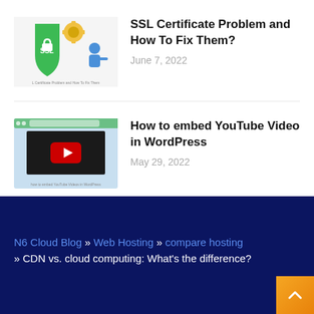[Figure (illustration): SSL certificate illustration with shield, gear, and person icons]
SSL Certificate Problem and How To Fix Them?
June 7, 2022
[Figure (screenshot): YouTube video embed preview with red play button on light blue background]
How to embed YouTube Video in WordPress
May 29, 2022
N6 Cloud Blog » Web Hosting » compare hosting » CDN vs. cloud computing: What's the difference?